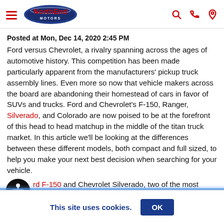NorthEnd Motors
Posted at Mon, Dec 14, 2020 2:45 PM
Ford versus Chevrolet, a rivalry spanning across the ages of automotive history. This competition has been made particularly apparent from the manufacturers' pickup truck assembly lines. Even more so now that vehicle makers across the board are abandoning their homestead of cars in favor of SUVs and trucks. Ford and Chevrolet's F-150, Ranger, Silverado, and Colorado are now poised to be at the forefront of this head to head matchup in the middle of the titan truck market. In this article we'll be looking at the differences between these different models, both compact and full sized, to help you make your next best decision when searching for your vehicle.
Ford F-150 and Chevrolet Silverado, two of the most competitive options in the full size truck market are
This site uses cookies.